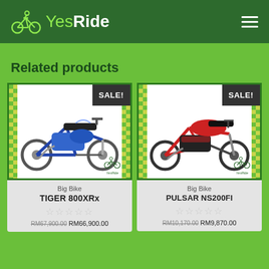[Figure (logo): YesRide logo with bicycle icon and hamburger menu on dark green header]
Related products
[Figure (photo): Blue adventure motorcycle (Triumph Tiger 800XRx) with SALE! badge, shown on white background with YesRide watermark]
Big Bike
TIGER 800XRx
☆☆☆☆☆
RM67,900.00 RM66,900.00
[Figure (photo): Red/black street motorcycle (Bajaj Pulsar NS200FI) with SALE! badge, shown on white background with YesRide watermark]
Big Bike
PULSAR NS200FI
☆☆☆☆☆
RM10,170.00 RM9,870.00